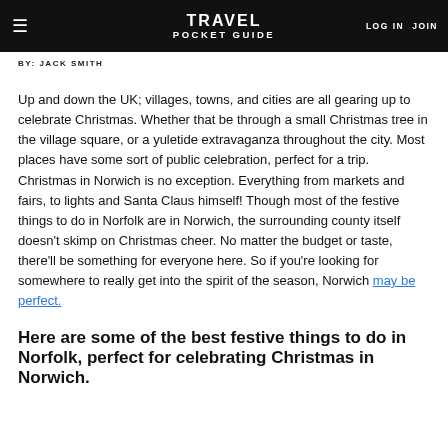≡  TRAVEL POCKET GUIDE  LOG IN  JOIN
BY: JACK SMITH
Up and down the UK; villages, towns, and cities are all gearing up to celebrate Christmas. Whether that be through a small Christmas tree in the village square, or a yuletide extravaganza throughout the city. Most places have some sort of public celebration, perfect for a trip. Christmas in Norwich is no exception. Everything from markets and fairs, to lights and Santa Claus himself! Though most of the festive things to do in Norfolk are in Norwich, the surrounding county itself doesn't skimp on Christmas cheer. No matter the budget or taste, there'll be something for everyone here. So if you're looking for somewhere to really get into the spirit of the season, Norwich may be perfect.
Here are some of the best festive things to do in Norfolk, perfect for celebrating Christmas in Norwich.